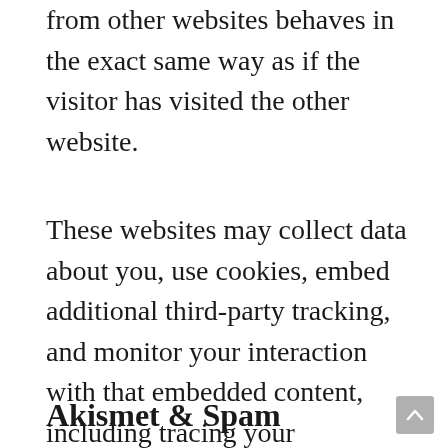from other websites behaves in the exact same way as if the visitor has visited the other website.
These websites may collect data about you, use cookies, embed additional third-party tracking, and monitor your interaction with that embedded content, including tracing your interaction with the embedded content, as if you have an account and are logged into that website.
Akismet & Spam